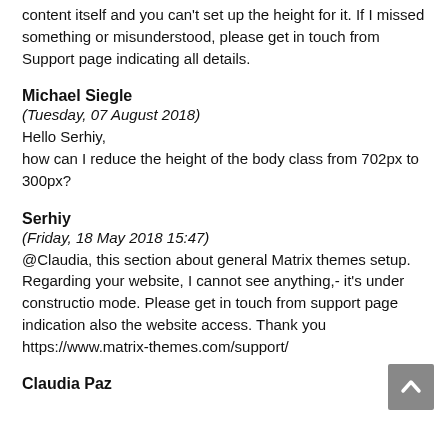content itself and you can't set up the height for it. If I missed something or misunderstood, please get in touch from Support page indicating all details.
Michael Siegle
(Tuesday, 07 August 2018)
Hello Serhiy,
how can I reduce the height of the body class from 702px to 300px?
Serhiy
(Friday, 18 May 2018 15:47)
@Claudia, this section about general Matrix themes setup. Regarding your website, I cannot see anything,- it's under constructio mode. Please get in touch from support page indication also the website access. Thank you
https://www.matrix-themes.com/support/
Claudia Paz